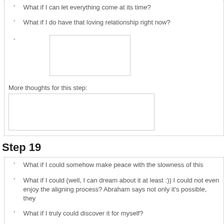What if I can let everything come at its time?
What if I do have that loving relationship right now?
More thoughts for this step:
Step 19
What if I could somehow make peace with the slowness of this
What if I could (well, I can dream about it at least :)) I could not even enjoy the aligning process? Abraham says not only it's possible, they
What if I truly could discover it for myself?
I think I do discover it for myself to some degree.